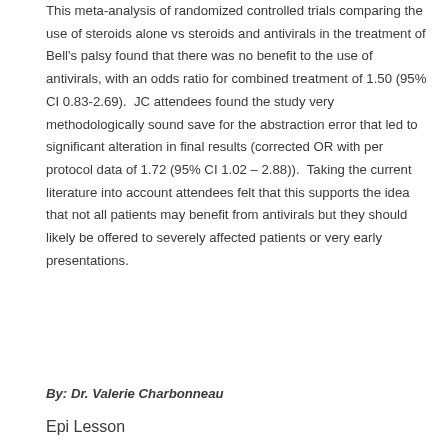This meta-analysis of randomized controlled trials comparing the use of steroids alone vs steroids and antivirals in the treatment of Bell's palsy found that there was no benefit to the use of antivirals, with an odds ratio for combined treatment of 1.50 (95% CI 0.83-2.69).  JC attendees found the study very methodologically sound save for the abstraction error that led to significant alteration in final results (corrected OR with per protocol data of 1.72 (95% CI 1.02 – 2.88)).  Taking the current literature into account attendees felt that this supports the idea that not all patients may benefit from antivirals but they should likely be offered to severely affected patients or very early presentations.
By: Dr. Valerie Charbonneau
Epi Lesson